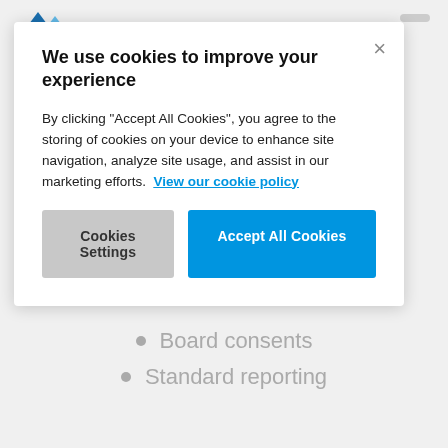[Figure (screenshot): Cookie consent modal dialog with title, description text, a 'View our cookie policy' link, a 'Cookies Settings' button, and an 'Accept All Cookies' button. A close (×) button is in the top right corner.]
We use cookies to improve your experience
By clicking "Accept All Cookies", you agree to the storing of cookies on your device to enhance site navigation, analyze site usage, and assist in our marketing efforts.  View our cookie policy
Board consents
Standard reporting